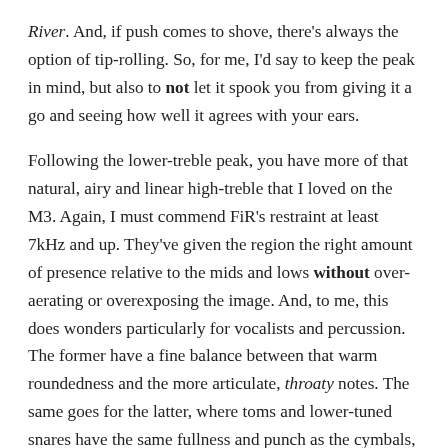River. And, if push comes to shove, there's always the option of tip-rolling. So, for me, I'd say to keep the peak in mind, but also to not let it spook you from giving it a go and seeing how well it agrees with your ears.
Following the lower-treble peak, you have more of that natural, airy and linear high-treble that I loved on the M3. Again, I must commend FiR's restraint at least 7kHz and up. They've given the region the right amount of presence relative to the mids and lows without over-aerating or overexposing the image. And, to me, this does wonders particularly for vocalists and percussion. The former have a fine balance between that warm roundedness and the more articulate, throaty notes. The same goes for the latter, where toms and lower-tuned snares have the same fullness and punch as the cymbals, and the kit doesn't sound too airy or hollow, as if the overhead and room mics were amplified. With that tonality comes great extension and resolution too; greater